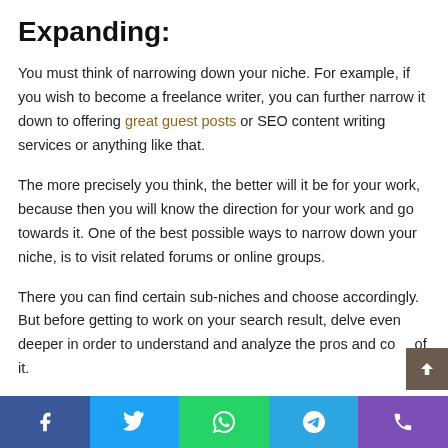Expanding:
You must think of narrowing down your niche. For example, if you wish to become a freelance writer, you can further narrow it down to offering great guest posts or SEO content writing services or anything like that.
The more precisely you think, the better will it be for your work, because then you will know the direction for your work and go towards it. One of the best possible ways to narrow down your niche, is to visit related forums or online groups.
There you can find certain sub-niches and choose accordingly. But before getting to work on your search result, delve even deeper in order to understand and analyze the pros and cons of it.